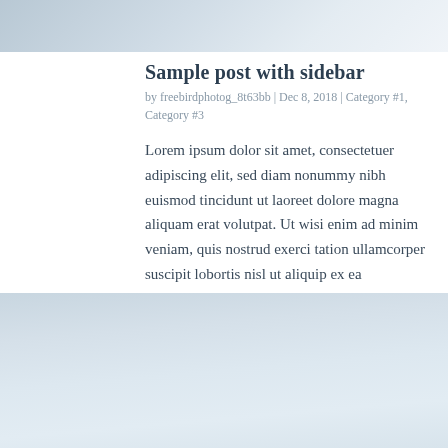[Figure (photo): Top portion of a photo showing light blue-grey tones, partially visible at top of page]
Sample post with sidebar
by freebirdphotog_8t63bb | Dec 8, 2018 | Category #1, Category #3
Lorem ipsum dolor sit amet, consectetuer adipiscing elit, sed diam nonummy nibh euismod tincidunt ut laoreet dolore magna aliquam erat volutpat. Ut wisi enim ad minim veniam, quis nostrud exerci tation ullamcorper suscipit lobortis nisl ut aliquip ex ea commodo...
[Figure (photo): Bottom photo showing a light blue-grey textured surface, occupying lower portion of page]